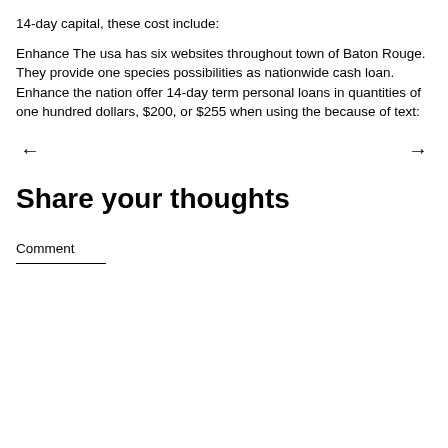14-day capital, these cost include:
Enhance The usa has six websites throughout town of Baton Rouge. They provide one species possibilities as nationwide cash loan. Enhance the nation offer 14-day term personal loans in quantities of one hundred dollars, $200, or $255 when using the because of text:
[Figure (other): Navigation arrows: left arrow on the left, right arrow on the right]
Share your thoughts
Comment